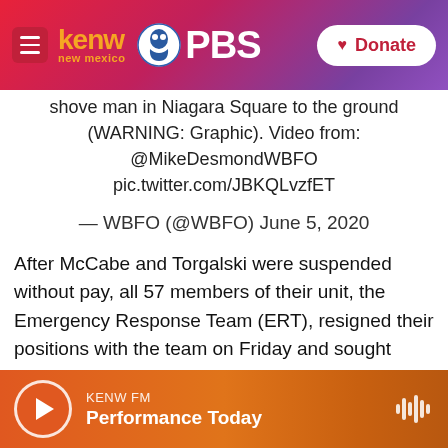[Figure (screenshot): KENW New Mexico PBS website header with logo, PBS logo, and Donate button]
shove man in Niagara Square to the ground (WARNING: Graphic). Video from: @MikeDesmondWBFO pic.twitter.com/JBKQLvzfET
— WBFO (@WBFO) June 5, 2020
After McCabe and Torgalski were suspended without pay, all 57 members of their unit, the Emergency Response Team (ERT), resigned their positions with the team on Friday and sought reassignment within the department.
KENW FM  Performance Today